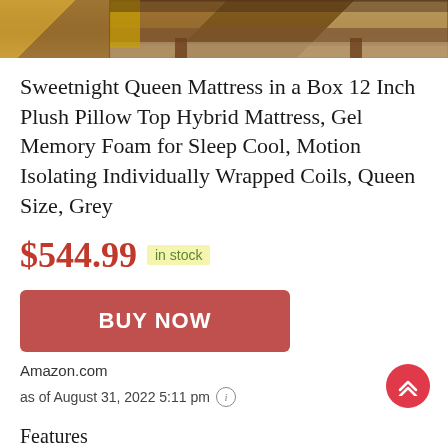[Figure (photo): Partial photo of a wooden bench/table on a rug, with yellow fabric visible, cropped at top of page]
Sweetnight Queen Mattress in a Box 12 Inch Plush Pillow Top Hybrid Mattress, Gel Memory Foam for Sleep Cool, Motion Isolating Individually Wrapped Coils, Queen Size, Grey
$544.99  in stock
[Figure (other): BUY NOW button — red/coral rounded rectangle with white bold text]
Amazon.com
as of August 31, 2022 5:11 pm (i)
Features